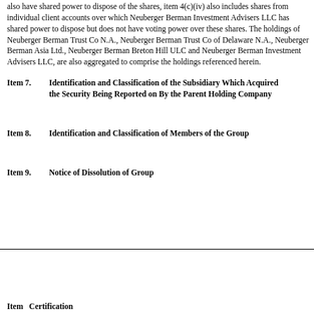also have shared power to dispose of the shares, item 4(c)(iv) also includes shares from individual client accounts over which Neuberger Berman Investment Advisers LLC has shared power to dispose but does not have voting power over these shares. The holdings of Neuberger Berman Trust Co N.A., Neuberger Berman Trust Co of Delaware N.A., Neuberger Berman Asia Ltd., Neuberger Berman Breton Hill ULC and Neuberger Berman Investment Advisers LLC, are also aggregated to comprise the holdings referenced herein.
Item 7.  Identification and Classification of the Subsidiary Which Acquired the Security Being Reported on By the Parent Holding Company
Item 8.  Identification and Classification of Members of the Group
Item 9.  Notice of Dissolution of Group
Item   Certification